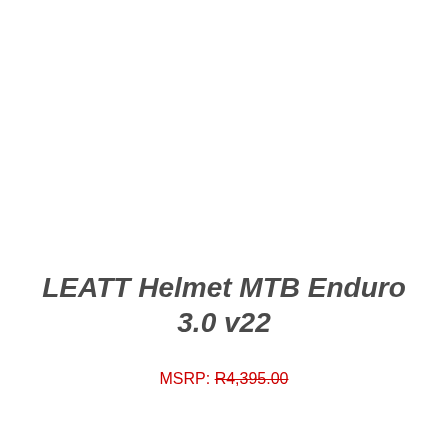LEATT Helmet MTB Enduro 3.0 v22
MSRP: R4,395.00